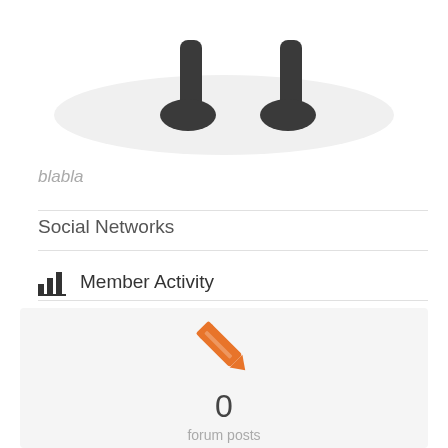[Figure (illustration): Partial illustration of a cartoon character's legs standing on a grey oval platform, cropped at the top of the page]
blabla
Social Networks
Member Activity
[Figure (infographic): Orange pencil icon above the number 0 and the label 'forum posts' on a light grey card background]
[Figure (infographic): Orange document/page icon partially visible at the bottom of the page]